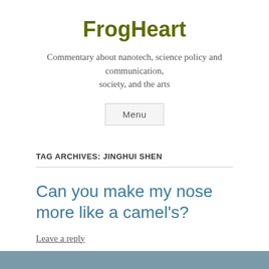FrogHeart
Commentary about nanotech, science policy and communication, society, and the arts
Menu
TAG ARCHIVES: JINGHUI SHEN
Can you make my nose more like a camel's?
Leave a reply
[Figure (photo): Partial image strip at the bottom of the page, grayish-blue color]